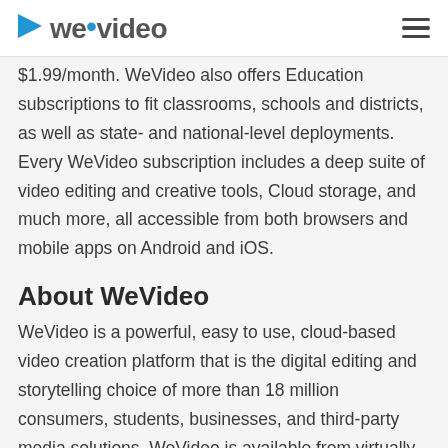WeVideo
$1.99/month. WeVideo also offers Education subscriptions to fit classrooms, schools and districts, as well as state- and national-level deployments. Every WeVideo subscription includes a deep suite of video editing and creative tools, Cloud storage, and much more, all accessible from both browsers and mobile apps on Android and iOS.
About WeVideo
WeVideo is a powerful, easy to use, cloud-based video creation platform that is the digital editing and storytelling choice of more than 18 million consumers, students, businesses, and third-party media solutions. WeVideo is available from virtually any computer or device at home, school, work or on the go to capture,